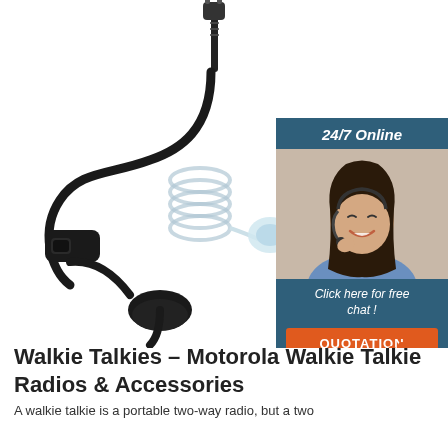[Figure (photo): Product photo of a walkie talkie acoustic tube earpiece/headset with coiled clear tube, black cable, PTT button, and dual-prong connector plug on white background]
[Figure (infographic): 24/7 Online customer support chat widget with dark blue/teal background, photo of smiling woman with headset, italic text 'Click here for free chat!', and orange QUOTATION button]
Walkie Talkies – Motorola Walkie Talkie Radios & Accessories
A walkie talkie is a portable two-way radio, but a two